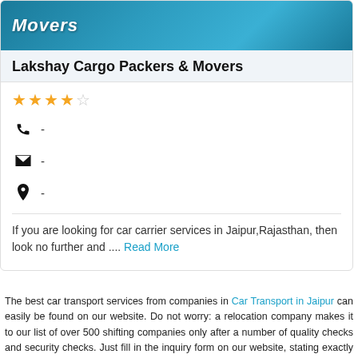[Figure (photo): Header image with teal/blue gradient background showing 'Movers' text in bold italic white]
Lakshay Cargo Packers & Movers
[Figure (other): Star rating: 4 filled stars and 1 empty star]
📞 -
✉ -
📍 -
If you are looking for car carrier services in Jaipur,Rajasthan, then look no further and .... Read More
The best car transport services from companies in Car Transport in Jaipur can easily be found on our website. Do not worry: a relocation company makes it to our list of over 500 shifting companies only after a number of quality checks and security checks. Just fill in the inquiry form on our website, stating exactly what you need. Our team matches search the database of vehicle shifting companies and compiles a list